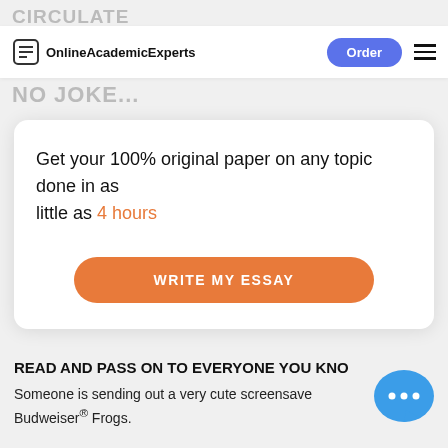OnlineAcademicExperts | Order
CIRCULATE
NO JOKE...
Get your 100% original paper on any topic done in as little as 4 hours
WRITE MY ESSAY
READ AND PASS ON TO EVERYONE YOU KNO
Someone is sending out a very cute screensaver Budweiser® Frogs.